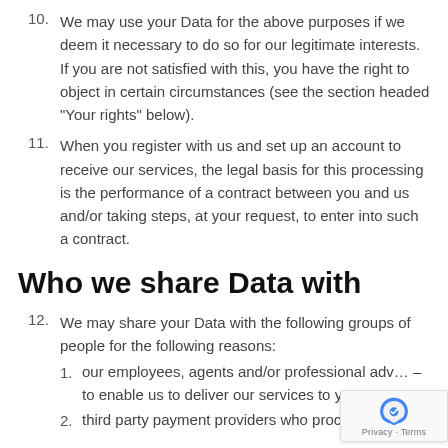10. We may use your Data for the above purposes if we deem it necessary to do so for our legitimate interests. If you are not satisfied with this, you have the right to object in certain circumstances (see the section headed "Your rights" below).
11. When you register with us and set up an account to receive our services, the legal basis for this processing is the performance of a contract between you and us and/or taking steps, at your request, to enter into such a contract.
Who we share Data with
12. We may share your Data with the following groups of people for the following reasons:
1. our employees, agents and/or professional adv… – to enable us to deliver our services to you;
2. third party payment providers who process…